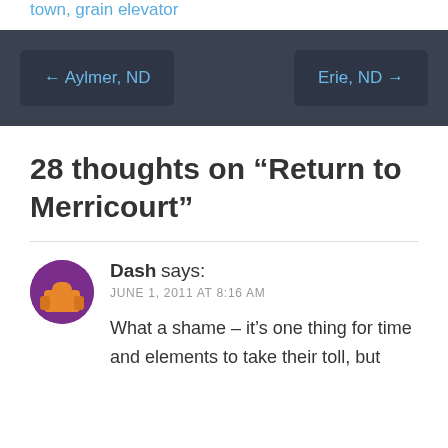town, grain elevator
[Figure (other): Navigation bar with two buttons: left arrow Aylmer, ND and Erie, ND right arrow]
28 thoughts on “Return to Merricourt”
Dash says: JUNE 1, 2011 AT 8:16 AM — What a shame – it’s one thing for time and elements to take their toll, but